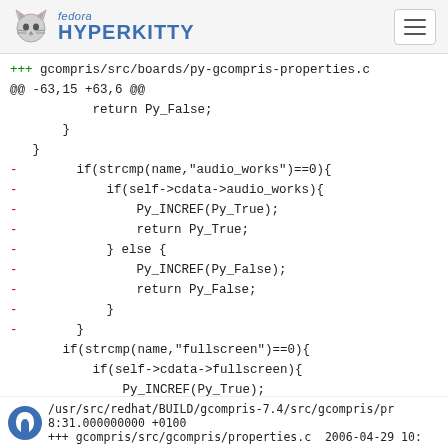fedora HYPERKITTY
+++ gcompris/src/boards/py-gcompris-properties.c
@@ -63,15 +63,6 @@
            return Py_False;
        }
    }
-       if(strcmp(name,"audio_works")==0){
-           if(self->cdata->audio_works){
-               Py_INCREF(Py_True);
-               return Py_True;
-           } else {
-               Py_INCREF(Py_False);
-               return Py_False;
-           }
-       }
    if(strcmp(name,"fullscreen")==0){
        if(self->cdata->fullscreen){
            Py_INCREF(Py_True);
-/usr/src/redhat/BUILD/gcompris-7.4/src/gcompris/pr 8:31.000000000 +0100
+++ gcompris/src/gcompris/properties.c  2006-04-29 10: